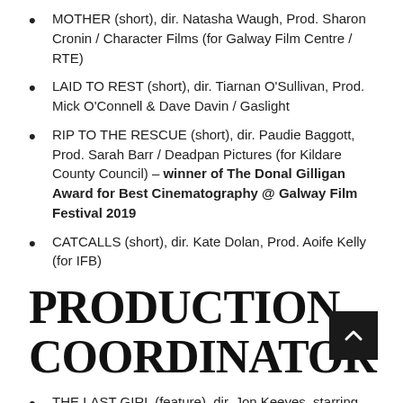MOTHER (short), dir. Natasha Waugh, Prod. Sharon Cronin / Character Films (for Galway Film Centre / RTE)
LAID TO REST (short), dir. Tiarnan O'Sullivan, Prod. Mick O'Connell & Dave Davin / Gaslight
RIP TO THE RESCUE (short), dir. Paudie Baggott, Prod. Sarah Barr / Deadpan Pictures (for Kildare County Council) – winner of The Donal Gilligan Award for Best Cinematography @ Galway Film Festival 2019
CATCALLS (short), dir. Kate Dolan, Prod. Aoife Kelly (for IFB)
PRODUCTION COORDINATOR
THE LAST GIRL (feature), dir. Jon Keeyes, starring